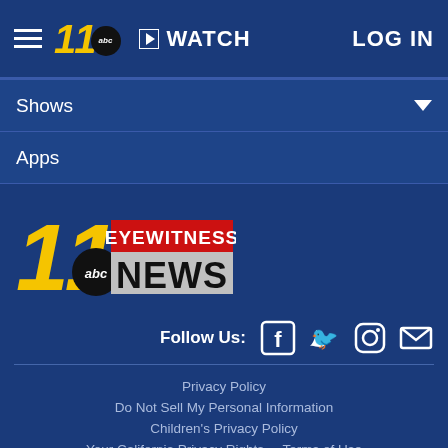≡ 11 abc ▶ WATCH  LOG IN
Shows ▼
Apps
[Figure (logo): 11 ABC Eyewitness News logo with yellow numeral 11, ABC circle, red banner with EYEWITNESS in white, and NEWS in large letters on metallic background]
Follow Us:
Privacy Policy
Do Not Sell My Personal Information
Children's Privacy Policy
Your California Privacy Rights    Terms of Use
Interest-Based Ads    Public Inspection File
FCC Applications